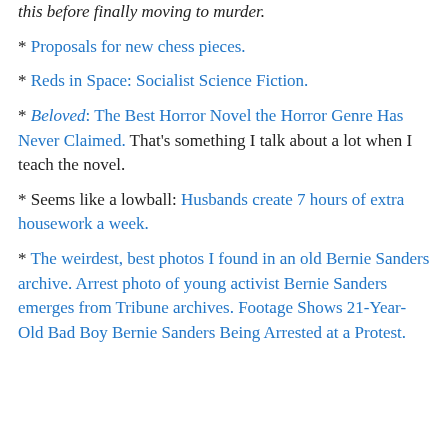this before finally moving to murder.
* Proposals for new chess pieces.
* Reds in Space: Socialist Science Fiction.
* Beloved: The Best Horror Novel the Horror Genre Has Never Claimed. That's something I talk about a lot when I teach the novel.
* Seems like a lowball: Husbands create 7 hours of extra housework a week.
* The weirdest, best photos I found in an old Bernie Sanders archive. Arrest photo of young activist Bernie Sanders emerges from Tribune archives. Footage Shows 21-Year-Old Bad Boy Bernie Sanders Being Arrested at a Protest.